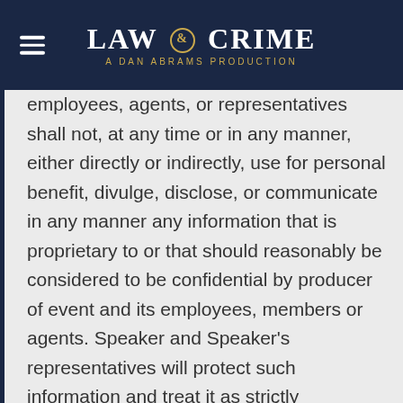LAW & CRIME — A DAN ABRAMS PRODUCTION
employees, agents, or representatives shall not, at any time or in any manner, either directly or indirectly, use for personal benefit, divulge, disclose, or communicate in any manner any information that is proprietary to or that should reasonably be considered to be confidential by producer of event and its employees, members or agents. Speaker and Speaker's representatives will protect such information and treat it as strictly confidential. This provision shall survive any termination or expiration of this Agreement. Any intellectual property